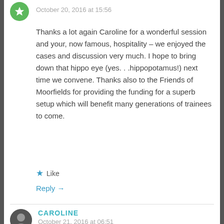October 20, 2016 at 15:56
Thanks a lot again Caroline for a wonderful session and your, now famous, hospitality – we enjoyed the cases and discussion very much. I hope to bring down that hippo eye (yes. . .hippopotamus!) next time we convene. Thanks also to the Friends of Moorfields for providing the funding for a superb setup which will benefit many generations of trainees to come.
Like
Reply →
CAROLINE
October 21, 2016 at 06:51
You're welcome, Simon! The veterinary input you and